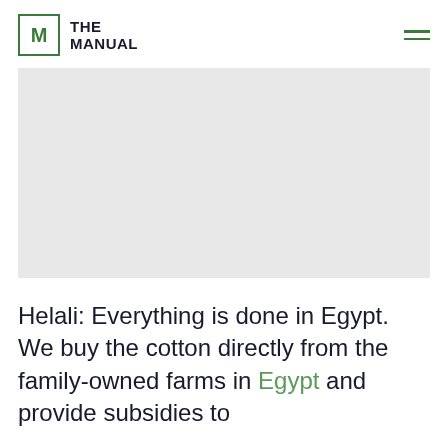THE MANUAL
[Figure (photo): Large light gray placeholder image area]
Helali: Everything is done in Egypt. We buy the cotton directly from the family-owned farms in Egypt and provide subsidies to